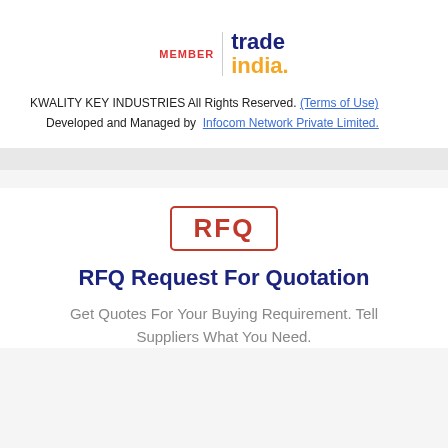[Figure (logo): TradeIndia MEMBER logo with vertical divider, 'MEMBER' in red, 'trade' in dark blue, 'india.' in orange]
KWALITY KEY INDUSTRIES All Rights Reserved. (Terms of Use)
Developed and Managed by  Infocom Network Private Limited.
[Figure (logo): RFQ stamp logo — red bordered rectangle with bold red 'RFQ' text inside]
RFQ Request For Quotation
Get Quotes For Your Buying Requirement. Tell Suppliers What You Need.